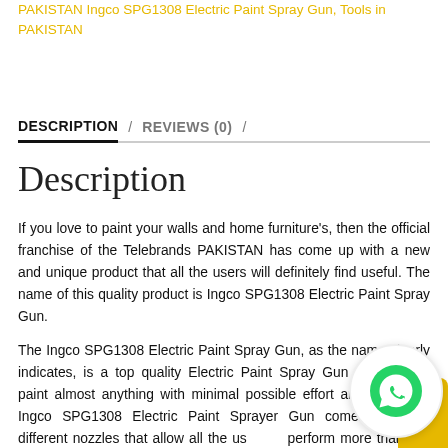PAKISTAN Ingco SPG1308 Electric Paint Spray Gun, Tools in PAKISTAN
DESCRIPTION / REVIEWS (0) /
Description
If you love to paint your walls and home furniture's, then the official franchise of the Telebrands PAKISTAN has come up with a new and unique product that all the users will definitely find useful. The name of this quality product is Ingco SPG1308 Electric Paint Spray Gun.
The Ingco SPG1308 Electric Paint Spray Gun, as the name clearly indicates, is a top quality Electric Paint Spray Gun designed to paint almost anything with minimal possible effort and time. The Ingco SPG1308 Electric Paint Sprayer Gun comes with the different nozzles that allow all the us perform more than just painting.
The Ingco SPG1308 Electric Paint Spray Gun comes with the 800 ml capacity bottle that allows the user to fill the bottle